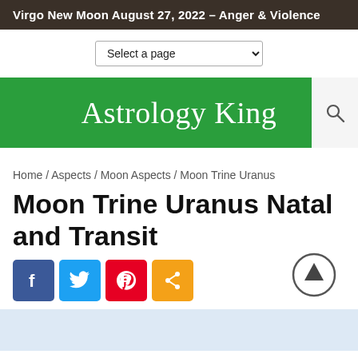Virgo New Moon August 27, 2022 – Anger & Violence
[Figure (screenshot): Dropdown selector labeled 'Select a page' with a chevron]
Astrology King
Home / Aspects / Moon Aspects / Moon Trine Uranus
Moon Trine Uranus Natal and Transit
[Figure (infographic): Social sharing buttons: Facebook (f), Twitter (bird), Pinterest (P), Share icon. Also an up-arrow circle button.]
[Figure (other): Light blue content area placeholder at the bottom of the page]